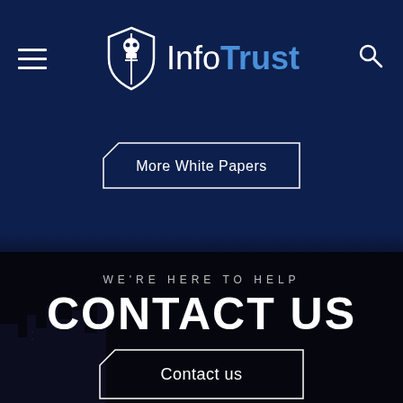InfoTrust
More White Papers
WE'RE HERE TO HELP
CONTACT US
Contact us